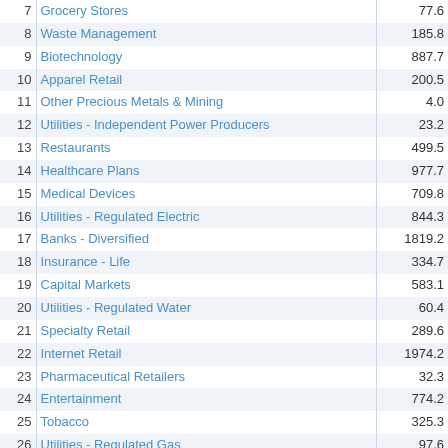| # | Industry | Value |
| --- | --- | --- |
| 7 | Grocery Stores | 77.6 |
| 8 | Waste Management | 185.8 |
| 9 | Biotechnology | 887.7 |
| 10 | Apparel Retail | 200.5 |
| 11 | Other Precious Metals & Mining | 4.0 |
| 12 | Utilities - Independent Power Producers | 23.2 |
| 13 | Restaurants | 499.5 |
| 14 | Healthcare Plans | 977.7 |
| 15 | Medical Devices | 709.8 |
| 16 | Utilities - Regulated Electric | 844.3 |
| 17 | Banks - Diversified | 1819.2 |
| 18 | Insurance - Life | 334.7 |
| 19 | Capital Markets | 583.1 |
| 20 | Utilities - Regulated Water | 60.4 |
| 21 | Specialty Retail | 289.6 |
| 22 | Internet Retail | 1974.2 |
| 23 | Pharmaceutical Retailers | 32.3 |
| 24 | Entertainment | 774.2 |
| 25 | Tobacco | 325.3 |
| 26 | Utilities - Regulated Gas | 97.6 |
| 27 | Banks - Regional | 1284.0 |
| 28 | Insurance - Property & Casualty | 374.7 |
| 29 | Internet Content & Information | 3702.8 |
| 30 | Utilities - Renewable | 97.6 |
| 31 | Home Improvement Retail | 454.0 |
| 32 | Medical Instruments & Supplies | 423.6 |
| 33 | Financial Conglomerates | 15.2 |